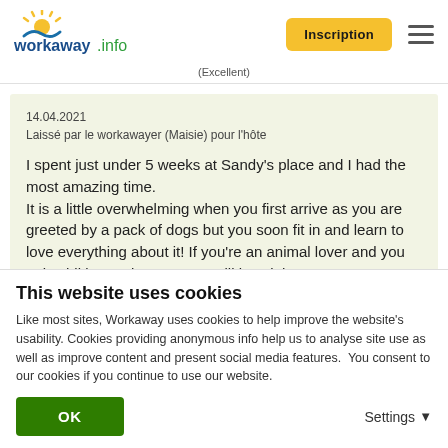[Figure (logo): Workaway.info logo with sun/wave icon in yellow and teal]
Inscription
(Excellent)
14.04.2021
Laissé par le workawayer (Maisie) pour l'hôte
I spent just under 5 weeks at Sandy's place and I had the most amazing time.
It is a little overwhelming when you first arrive as you are greeted by a pack of dogs but you soon fit in and learn to love everything about it! If you're an animal lover and you enjoy hiking and nature you will love it here.
A typical day consists of picking up poos... read more
This website uses cookies
Like most sites, Workaway uses cookies to help improve the website's usability. Cookies providing anonymous info help us to analyse site use as well as improve content and present social media features.  You consent to our cookies if you continue to use our website.
OK
Settings